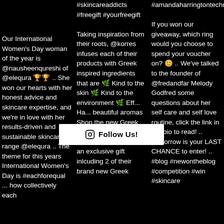Our International Women's Day woman of the year is @nausheenqureshi of @elequra 🏆🏆 .. She won our hearts with her honest advice and skincare expertise, and we're in love with her results-driven and sustainable skincare range @elequra .. The theme for this years International Women's Day is #eachforequal ... how collectively each
#skincareaddicts #freegift #yourfreegift Taking inspiration from their roots, @korres infuses each of their products with Greek inspired ingredients that are 🌿 Kind to the skin 🌿 Kind to the environment 🌿 Eff... Ha... beautiful aromas Shop the new Greek Yoghurt collection online now, and receive an exclusive gift inlcuding 2 of their brand new Greek
#amandaharringtontechnique If you won our giveaway, which ring would you choose to spend your voucher on? 😊 .. We've talked to the founder of @fredandfar Melody Godfred some questions about her self care and self love routine, click the link in our bio to read! .. Tomorrow is your LAST CHANCE to enter! .. #blog #newontheblog #competition #win #skincare
[Figure (other): Follow Us! button overlay with Instagram icon, white background, black text]